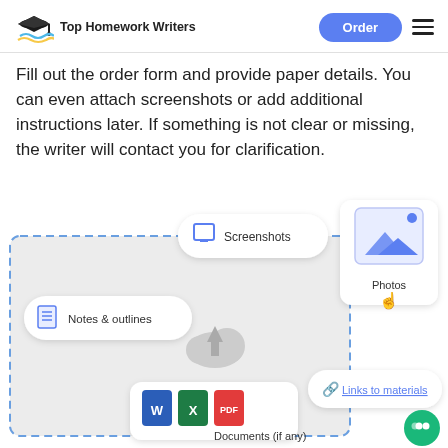Top Homework Writers
Fill out the order form and provide paper details. You can even attach screenshots or add additional instructions later. If something is not clear or missing, the writer will contact you for clarification.
[Figure (infographic): Infographic showing file attachment options: Screenshots, Notes & outlines, Documents (if any) with Word/Excel/PDF icons, Photos with image preview icon, Links to materials, and an upload cloud icon in center. Surrounded by a dashed blue border.]